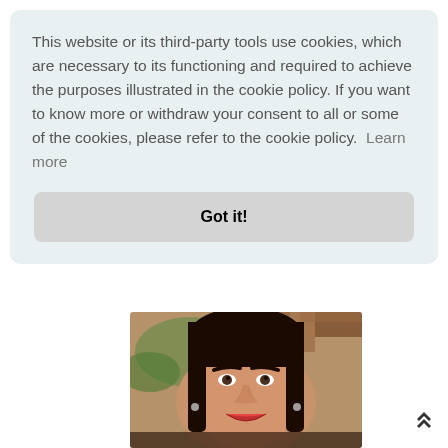This website or its third-party tools use cookies, which are necessary to its functioning and required to achieve the purposes illustrated in the cookie policy. If you want to know more or withdraw your consent to all or some of the cookies, please refer to the cookie policy.  Learn more
Got it!
[Figure (photo): Portrait photo of a woman with dark hair, red lips, smiling, outdoors with wooden structures and greenery in background]